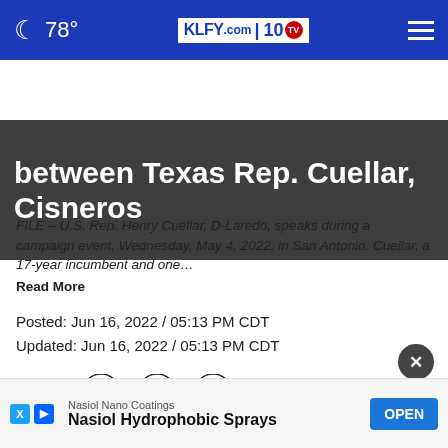🌙 78° | KLFY.com 10 ☰
between Texas Rep. Cuellar, Cisneros
FILE – U.S. Rep. Henry Cuellar, D-Laredo, speaks during a campaign event, Wednesday, May 4, 2022, in San Antonio. Cuellar, a 17-year incumbent and one… Read More
Posted: Jun 16, 2022 / 05:13 PM CDT
Updated: Jun 16, 2022 / 05:13 PM CDT
SHARE
LARE
Thurs ... cratic
[Figure (screenshot): Advertisement overlay: Nasiol Nano Coatings - Nasiol Hydrophobic Sprays with OPEN button]